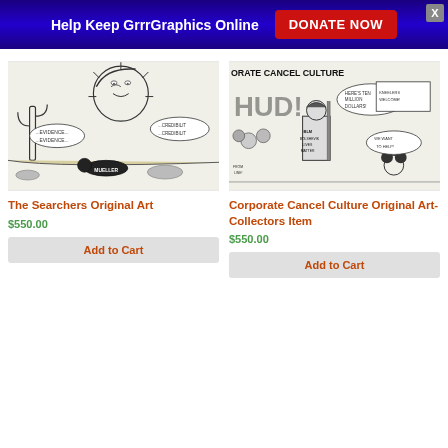Help Keep GrrrGraphics Online  DONATE NOW
[Figure (illustration): Political cartoon: Trump face as sun/moon over desert with cactus, figure crawling labeled 'MUELLER', speech bubbles saying '...EVIDENCE... ...EVIDENCE...' and '...CREDIBILITY...CREDIBILITY']
The Searchers Original Art
$550.00
Add to Cart
[Figure (illustration): Political cartoon: 'CORPORATE CANCEL CULTURE' text at top, figure in BLM shirt holding rifle with speech bubble 'HERE'S TEN MILLION DOLLARS!', Mickey Mouse figure, 'WE WANT TO HELP!' bubble, 'KNEELERS WELCOME!' sign]
Corporate Cancel Culture Original Art-Collectors Item
$550.00
Add to Cart